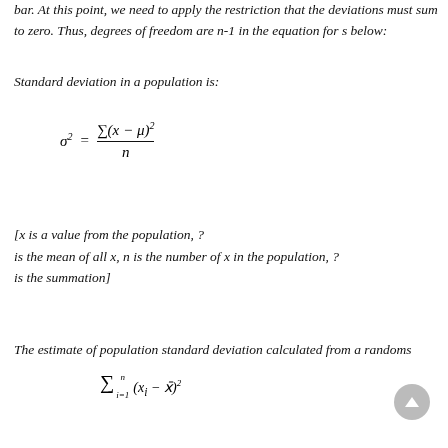bar. At this point, we need to apply the restriction that the deviations must sum to zero. Thus, degrees of freedom are n-1 in the equation for s below:
Standard deviation in a population is:
[x is a value from the population, ? is the mean of all x, n is the number of x in the population, ? is the summation]
The estimate of population standard deviation calculated from a randoms